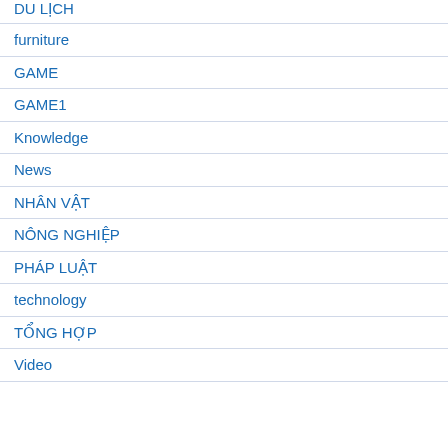DU LỊCH
furniture
GAME
GAME1
Knowledge
News
NHÂN VẬT
NÔNG NGHIỆP
PHÁP LUẬT
technology
TỔNG HỢP
Video